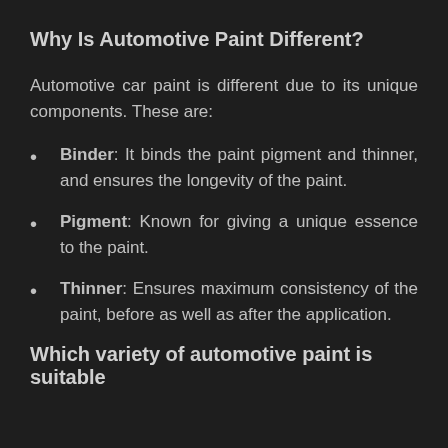Why Is Automotive Paint Different?
Automotive car paint is different due to its unique components. These are:
Binder: It binds the paint pigment and thinner, and ensures the longevity of the paint.
Pigment: Known for giving a unique essence to the paint.
Thinner: Ensures maximum consistency of the paint, before as well as after the application.
Which variety of automotive paint is suitable